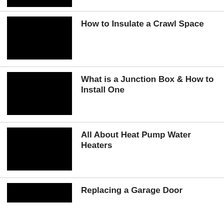[Figure (photo): Partial black thumbnail image at top of page]
[Figure (photo): Black thumbnail image for How to Insulate a Crawl Space article]
How to Insulate a Crawl Space
[Figure (photo): Black thumbnail image for What is a Junction Box & How to Install One article]
What is a Junction Box & How to Install One
[Figure (photo): Black thumbnail image for All About Heat Pump Water Heaters article]
All About Heat Pump Water Heaters
[Figure (photo): Partial black thumbnail image for Replacing a Garage Door article]
Replacing a Garage Door